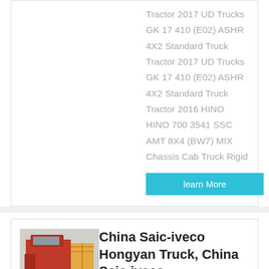Tractor 2017 UD Trucks GK 17 410 (E02) ASHR 4X2 Standard Truck Tractor 2017 UD Trucks GK 17 410 (E02) ASHR 4X2 Standard Truck Tractor 2016 HINO HINO 700 3541 SSC AMT 8X4 (BW7) MIX Chassis Cab Truck Rigid
learn More
[Figure (photo): Photo of a red truck cab/tractor viewed from behind in a yard or lot]
China Saic-iveco Hongyan Truck, China Saic-iveco ...
China Saic-iveco Hongyan Truck - Select 2021 high quality China Saic-